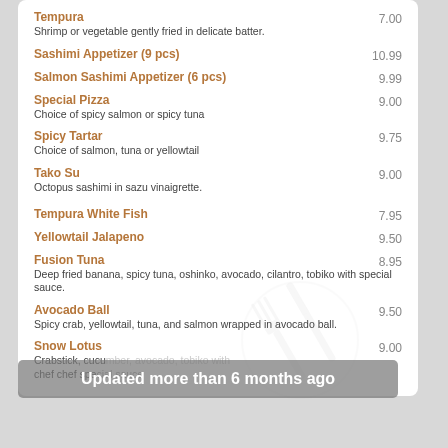Tempura — 7.00
Shrimp or vegetable gently fried in delicate batter.
Sashimi Appetizer (9 pcs) — 10.99
Salmon Sashimi Appetizer (6 pcs) — 9.99
Special Pizza — 9.00
Choice of spicy salmon or spicy tuna
Spicy Tartar — 9.75
Choice of salmon, tuna or yellowtail
Tako Su — 9.00
Octopus sashimi in sazu vinaigrette.
Tempura White Fish — 7.95
Yellowtail Jalapeno — 9.50
Fusion Tuna — 8.95
Deep fried banana, spicy tuna, oshinko, avocado, cilantro, tobiko with special sauce.
Avocado Ball — 9.50
Spicy crab, yellowtail, tuna, and salmon wrapped in avocado ball.
Snow Lotus — 9.00
Crabstick, cucu...[with] chef chef special sauce
Updated more than 6 months ago